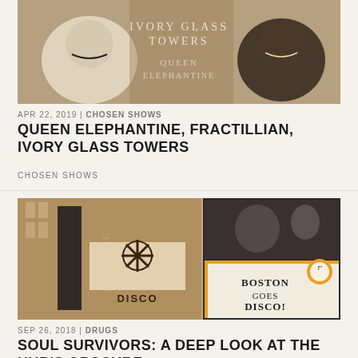[Figure (photo): Promotional image for Queen Elephantine, Fractillian, Ivory Glass Towers show — two rounded vase-like objects with overlaid text reading IVORY GLASS TOWERS / QUEEN ELEPHANTINE against a warm brown background]
APR 22, 2019 | CHOSEN SHOWS
QUEEN ELEPHANTINE, FRACTILLIAN, IVORY GLASS TOWERS
CHOSEN SHOWS
[Figure (photo): Collage image with sepia-toned photo of a building with CELEBRATE sign and DISCO sign on left, and black-and-white concert photo and Boston Goes Disco! record sleeve on right with yellow/gold borders]
SEP 26, 2018 | DRUGS
SOUL SURVIVORS: A DEEP LOOK AT THE HUB'S OBSCURE